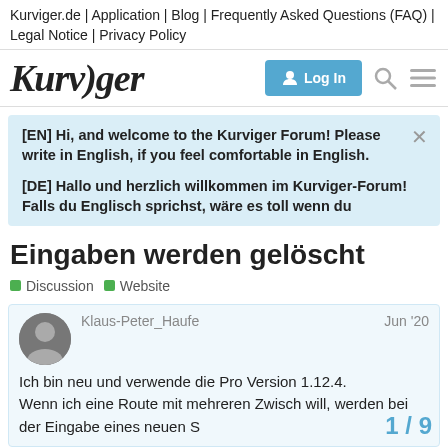Kurviger.de | Application | Blog | Frequently Asked Questions (FAQ) | Legal Notice | Privacy Policy
[Figure (logo): Kurviger logo with stylized italic text and navigation icons including Log In button, search icon, and menu icon]
[EN] Hi, and welcome to the Kurviger Forum! Please write in English, if you feel comfortable in English.
[DE] Hallo und herzlich willkommen im Kurviger-Forum! Falls du Englisch sprichst, wäre es toll wenn du
Eingaben werden gelöscht
Discussion  Website
Klaus-Peter_Haufe  Jun '20
Ich bin neu und verwende die Pro Version 1.12.4.
Wenn ich eine Route mit mehreren Zwisch will, werden bei der Eingabe eines neuen S
1 / 9